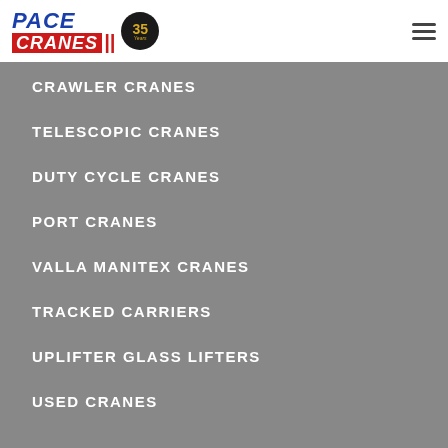PACE CRANES 35 Years
CRAWLER CRANES
TELESCOPIC CRANES
DUTY CYCLE CRANES
PORT CRANES
VALLA MANITEX CRANES
TRACKED CARRIERS
UPLIFTER GLASS LIFTERS
USED CRANES